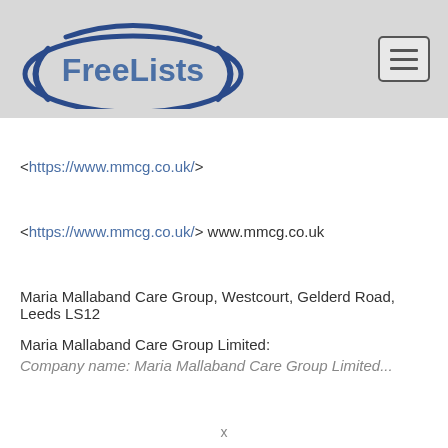[Figure (logo): FreeLists logo with blue oval and text]
<https://www.mmcg.co.uk/>
<https://www.mmcg.co.uk/> www.mmcg.co.uk
Maria Mallaband Care Group, Westcourt, Gelderd Road, Leeds LS12
Maria Mallaband Care Group Limited:
Company name: Maria Mallaband Care Group Limited...